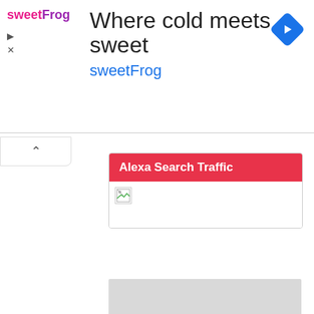[Figure (screenshot): sweetFrog advertisement banner with logo, headline 'Where cold meets sweet', brand name 'sweetFrog', and a blue diamond navigation icon]
Where cold meets sweet
sweetFrog
[Figure (other): Collapse/chevron up button area]
Alexa Search Traffic
[Figure (other): Broken image placeholder inside Alexa Search Traffic box]
[Figure (other): Large gray placeholder content area]